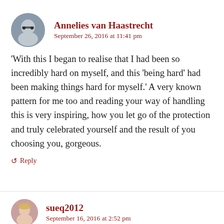[Figure (photo): Circular avatar photo of Annelies van Haastrecht, a woman with glasses and dark clothing]
Annelies van Haastrecht
September 26, 2016 at 11:41 pm
‘With this I began to realise that I had been so incredibly hard on myself, and this ‘being hard’ had been making things hard for myself.’ A very known pattern for me too and reading your way of handling this is very inspiring, how you let go of the protection and truly celebrated yourself and the result of you choosing you, gorgeous.
↺ Reply
[Figure (photo): Circular avatar photo of sueq2012, a woman with blonde hair]
sueq2012
September 16, 2016 at 2:52 pm